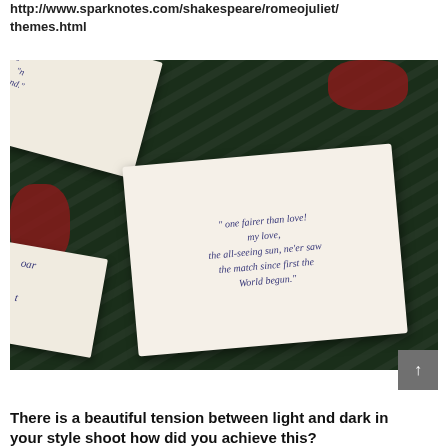http://www.sparknotes.com/shakespeare/romeojuliet/themes.html
[Figure (photo): Photo of calligraphy cards with Shakespeare quotes on cream paper, arranged among dark green leaves and red roses. Central card reads: 'one fairer than love! my love, the all-seeing sun, ne'er saw the match since first the world begun.' Other partial cards visible with handwritten script.]
There is a beautiful tension between light and dark in your style shoot how did you achieve this?